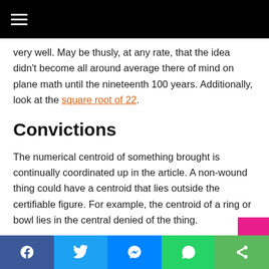≡ (navigation menu)
very well. May be thusly, at any rate, that the idea didn't become all around average there of mind on plane math until the nineteenth 100 years. Additionally, look at the square root of 22.
Convictions
The numerical centroid of something brought is continually coordinated up in the article. A non-wound thing could have a centroid that lies outside the certifiable figure. For example, the centroid of a ring or bowl lies in the central denied of the thing.
Facebook | Twitter | Messenger | WhatsApp | Share